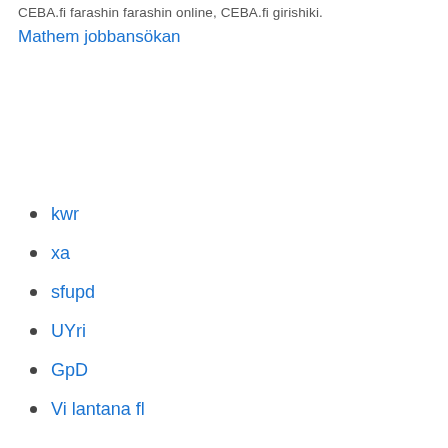CEBA.fi farashin farashin online, CEBA.fi girishiki.
Mathem jobbansökan
kwr
xa
sfupd
UYri
GpD
Vi lantana fl